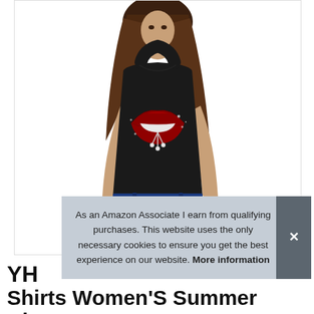[Figure (photo): A woman wearing a black sleeveless tank top with a large red lips graphic and rhinestone/jewel embellishments, paired with distressed blue jeans. The background is white, product photo style.]
As an Amazon Associate I earn from qualifying purchases. This website uses the only necessary cookies to ensure you get the best experience on our website. More information
YH
Shirts Women'S Summer Blouses